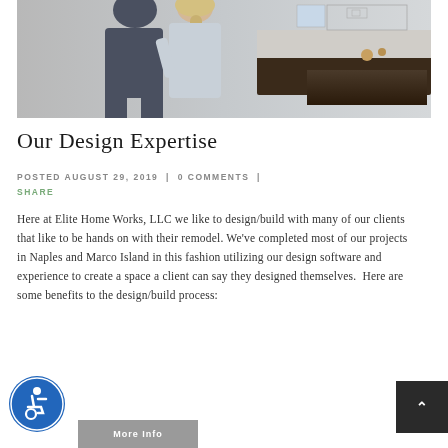[Figure (photo): Two people viewed from behind looking at a kitchen remodel; photo blends into a line drawing of kitchen cabinets on the right side]
Our Design Expertise
POSTED AUGUST 29, 2019  |  0 COMMENTS  |  SHARE
Here at Elite Home Works, LLC we like to design/build with many of our clients that like to be hands on with their remodel. We've completed most of our projects in Naples and Marco Island in this fashion utilizing our design software and experience to create a space a client can say they designed themselves.  Here are some benefits to the design/build process: